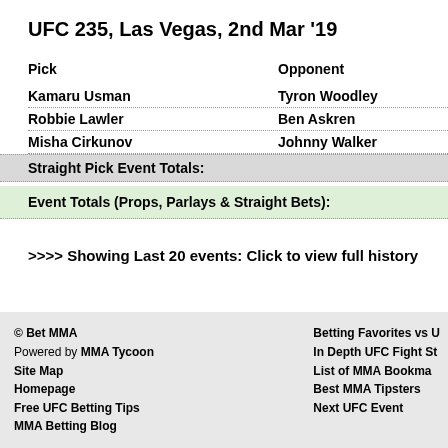UFC 235, Las Vegas, 2nd Mar '19
| Pick | Opponent |
| --- | --- |
| Kamaru Usman | Tyron Woodley |
| Robbie Lawler | Ben Askren |
| Misha Cirkunov | Johnny Walker |
| Straight Pick Event Totals: |  |
| Event Totals (Props, Parlays & Straight Bets): |  |
>>>> Showing Last 20 events: Click to view full history
© Bet MMA
Powered by MMA Tycoon
Site Map
Homepage
Free UFC Betting Tips
MMA Betting Blog
Betting Favorites vs U...
In Depth UFC Fight St...
List of MMA Bookma...
Best MMA Tipsters
Next UFC Event